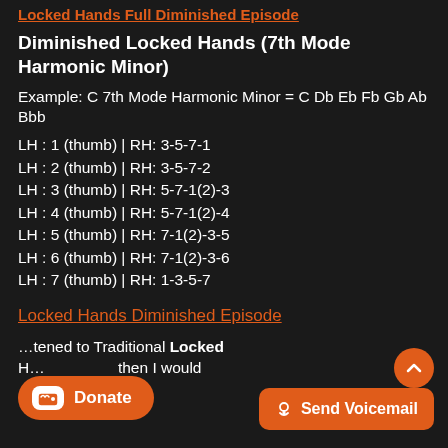Locked Hands Full Diminished Episode
Diminished Locked Hands (7th Mode Harmonic Minor)
Example: C 7th Mode Harmonic Minor = C Db Eb Fb Gb Ab Bbb
LH : 1 (thumb) | RH: 3-5-7-1
LH : 2 (thumb) | RH: 3-5-7-2
LH : 3 (thumb) | RH: 5-7-1(2)-3
LH : 4 (thumb) | RH: 5-7-1(2)-4
LH : 5 (thumb) | RH: 7-1(2)-3-5
LH : 6 (thumb) | RH: 7-1(2)-3-6
LH : 7 (thumb) | RH: 1-3-5-7
Locked Hands Diminished Episode
…tened to Traditional Locked H… …then I would …